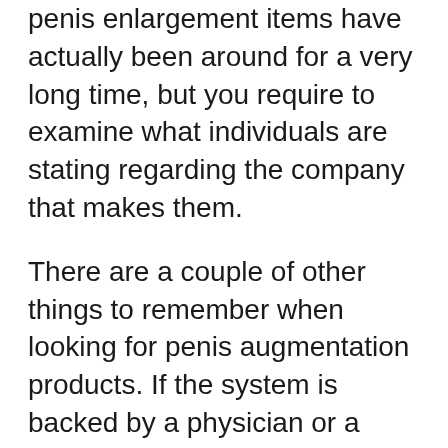penis enlargement items have actually been around for a very long time, but you require to examine what individuals are stating regarding the company that makes them.
There are a couple of other things to remember when looking for penis augmentation products. If the system is backed by a physician or a medical professional, you can be rather sure that it will function – so you don't waste your money on something that just might not work.
One more point that you ought to think about when looking for the best penis extender is if the products that are available have been confirmed to function. While